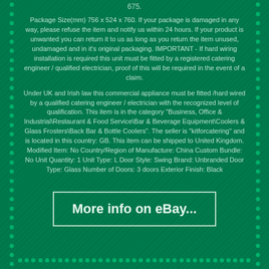675.
Package Size(mm) 756 x 524 x 760. If your package is damaged in any way, please refuse the item and notify us within 24 hours. If your product is unwanted you can return it to us as long as you return the item unused, undamaged and in it's original packaging. IMPORTANT - If hard wiring installation is required this unit must be fitted by a registered catering engineer / qualified electrician, proof of this will be required in the event of a claim.
Under UK and Irish law this commercial appliance must be fitted /hard wired by a qualified catering engineer / electrician with the recognized level of qualification. This item is in the category "Business, Office & Industrial\Restaurant & Food Service\Bar & Beverage Equipment\Coolers & Glass Frosters\Back Bar & Bottle Coolers". The seller is "kitforcatering" and is located in this country: GB. This item can be shipped to United Kingdom. Modified Item: No Country/Region of Manufacture: China Custom Bundle: No Unit Quantity: 1 Unit Type: L Door Style: Swing Brand: Unbranded Door Type: Glass Number of Doors: 3 doors Exterior Finish: Black
[Figure (other): Button linking to eBay listing with text 'More info on eBay...']